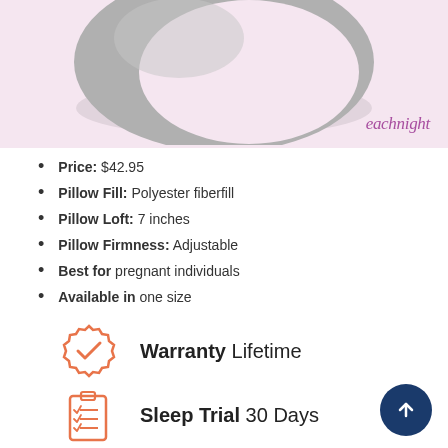[Figure (photo): Gray crescent-shaped pregnancy/body pillow on pink background with 'eachnight' brand watermark in bottom right corner]
Price: $42.95
Pillow Fill: Polyester fiberfill
Pillow Loft: 7 inches
Pillow Firmness: Adjustable
Best for pregnant individuals
Available in one size
[Figure (infographic): Orange/coral badge-style warranty icon with checkmark]
Warranty Lifetime
[Figure (infographic): Orange/coral clipboard with checklist icon]
Sleep Trial 30 Days